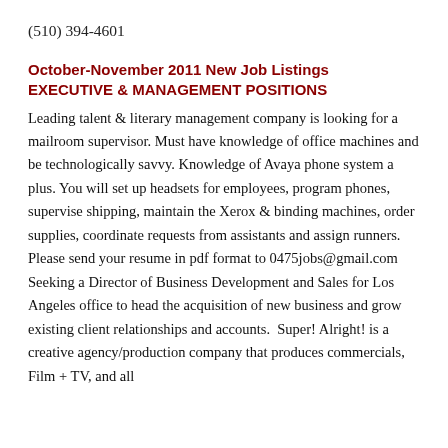(510) 394-4601
October-November 2011 New Job Listings
EXECUTIVE & MANAGEMENT POSITIONS
Leading talent & literary management company is looking for a mailroom supervisor. Must have knowledge of office machines and be technologically savvy. Knowledge of Avaya phone system a plus. You will set up headsets for employees, program phones, supervise shipping, maintain the Xerox & binding machines, order supplies, coordinate requests from assistants and assign runners.  Please send your resume in pdf format to 0475jobs@gmail.com
Seeking a Director of Business Development and Sales for Los Angeles office to head the acquisition of new business and grow existing client relationships and accounts.  Super! Alright! is a creative agency/production company that produces commercials, Film + TV, and all